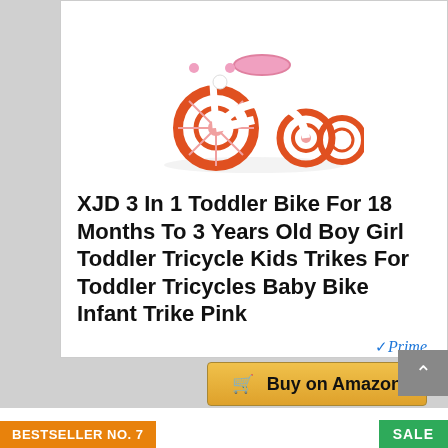[Figure (photo): Pink and white toddler tricycle with orange/red wheels on white background]
XJD 3 In 1 Toddler Bike For 18 Months To 3 Years Old Boy Girl Toddler Tricycle Kids Trikes For Toddler Tricycles Baby Bike Infant Trike Pink
✓Prime
🛒 Buy on Amazon
BESTSELLER NO. 7
SALE